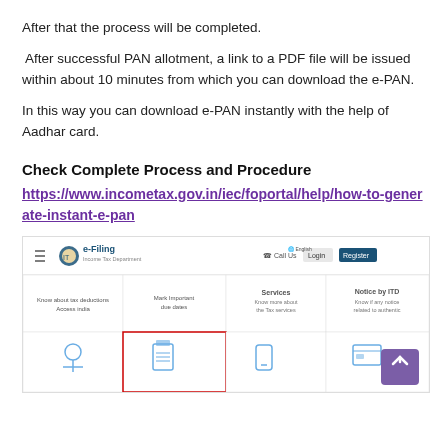After that the process will be completed.
After successful PAN allotment, a link to a PDF file will be issued within about 10 minutes from which you can download the e-PAN.
In this way you can download e-PAN instantly with the help of Aadhar card.
Check Complete Process and Procedure
https://www.incometax.gov.in/iec/foportal/help/how-to-generate-instant-e-pan
[Figure (screenshot): Screenshot of the Income Tax e-Filing portal (incometax.gov.in) showing the homepage with navigation menu, login/register buttons, and service tiles including 'Know about tax deductions', 'Mark Important Due dates', 'Services', 'Notice by ITD', and an e-PAN related tile highlighted with a red border.]